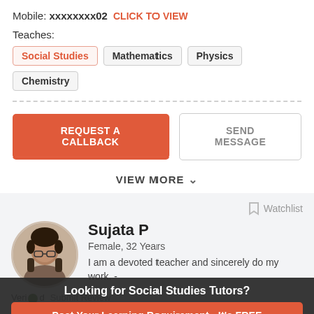Mobile: xxxxxxxx02 CLICK TO VIEW
Teaches:
Social Studies
Mathematics
Physics
Chemistry
REQUEST A CALLBACK
SEND MESSAGE
VIEW MORE
Watchlist
Sujata P
Female, 32 Years
I am a devoted teacher and sincerely do my work. -
Verified   Submit Review
Looking for Social Studies Tutors?
Post Your Learning Requirement - It's FREE